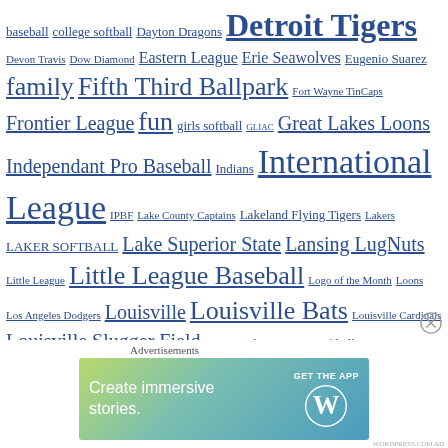baseball college softball Dayton Dragons Detroit Tigers Devon Travis Dow Diamond Eastern League Erie Seawolves Eugenio Suarez family Fifth Third Ballpark Fort Wayne TinCaps Frontier League fun girls softball GLIAC Great Lakes Loons Independant Pro Baseball Indians International League IPBF Lake County Captains Lakeland Flying Tigers Lakers LAKER SOFTBALL Lake Superior State Lansing LugNuts Little League Little League Baseball Logo of the Month Loons Los Angeles Dodgers Louisville Louisville Bats Louisville Cardinals Louisville Slugger Field LSSU Lakers LSSU Softball LugNuts Major League Baseball Midwest League MiLB Minor League Baseball MLB NCAA Nick Castellanos Reds Red Sox Sault Area Little League Scott Sizemore softball South Atlantic League Steven Moya Tampa Bay Rays Tigers Toledo Mud Hens Toronto Blue Jays Traverse City Beach Bums West Michigan Whitecaps Whitecaps
[Figure (other): WordPress advertisement banner: 'Create immersive stories. GET THE APP' with WordPress logo]
Advertisements